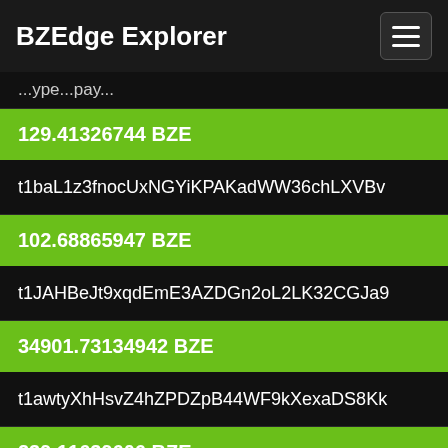BZEdge Explorer
129.41326744 BZE
t1baL1z3fnocUxNGYiKPAKadWW36chLXVBv
102.68865947 BZE
t1JAHBeJt9xqdEmE3AZDGn2oL2LK32CGJa9
34901.73134942 BZE
t1awtyXhHsvZ4hZPDZpB44WF9kXexaDS8Kk
239.11639606 BZE
t1Upq1Gyi6xjPhu5JimMgFaRDJ2WYRRweHD
181.90614922 BZE
t1WRdpTQqh7uupKzH5RHV3i6qkkGTpceLuD